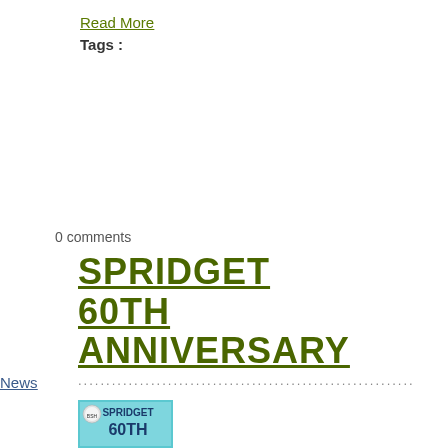Read More
Tags :
0 comments
SPRIDGET 60TH ANNIVERSARY
News
[Figure (photo): Spridget 60th anniversary event image with teal/blue background]